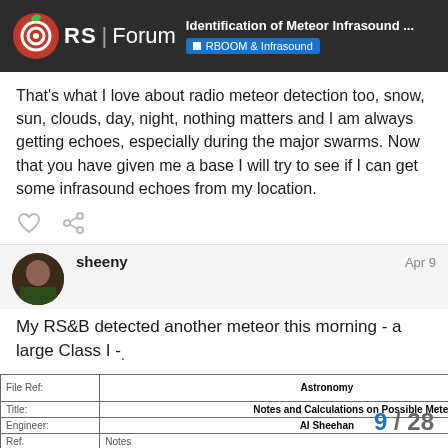RS | Forum — Identification of Meteor Infrasound ... — RBOOM & Infrasound
That's what I love about radio meteor detection too, snow, sun, clouds, day, night, nothing matters and I am always getting echoes, especially during the major swarms. Now that you have given me a base I will try to see if I can get some infrasound echoes from my location.
sheeny — Apr 9
My RS&B detected another meteor this morning - a large Class I -.
[Figure (table-as-image): Engineering worksheet header: File Ref: Astronomy, Al's Engineering Worksheets, Title: Notes and Calculations on Possible Meteor Infrasound Detection, Engineer: Al Sheehan, Date: 09/04/22, Ref. Notes / Data, Raw Infrasound Wave Form: [chart visible at bottom]]
9 / 28